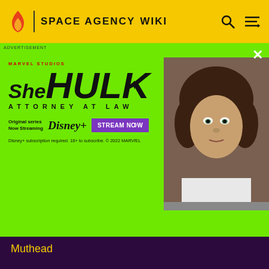SPACE AGENCY WIKI
[Figure (photo): She-Hulk Attorney at Law Marvel Studios advertisement banner with Disney+ Stream Now button and photo of actress with curly hair]
Muthead
FOLLOW US
[Figure (infographic): Social media icons: Facebook, Twitter, YouTube, Instagram, LinkedIn]
OVERVIEW
What is Fandom?
Terms of Use